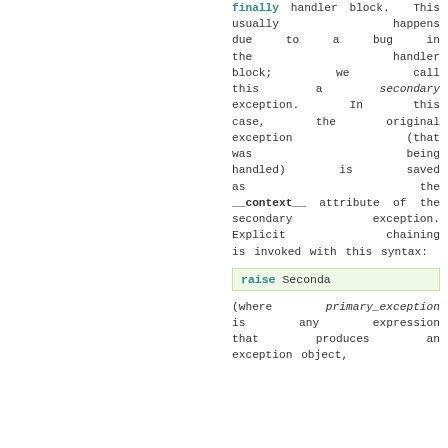finally handler block. This usually happens due to a bug in the handler block; we call this a secondary exception. In this case, the original exception (that was being handled) is saved as the __context__ attribute of the secondary exception. Explicit chaining is invoked with this syntax:
raise Seconda
(where primary_exception is any expression that produces an exception object,